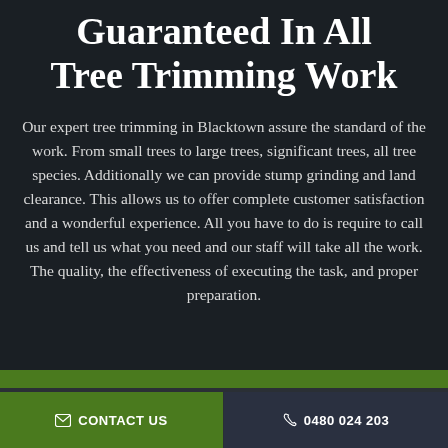Guaranteed In All Tree Trimming Work
Our expert tree trimming in Blacktown assure the standard of the work. From small trees to large trees, significant trees, all tree species. Additionally we can provide stump grinding and land clearance. This allows us to offer complete customer satisfaction and a wonderful experience. All you have to do is require to call us and tell us what you need and our staff will take all the work. The quality, the effectiveness of executing the task, and proper preparation.
CONTACT US
0480 024 203